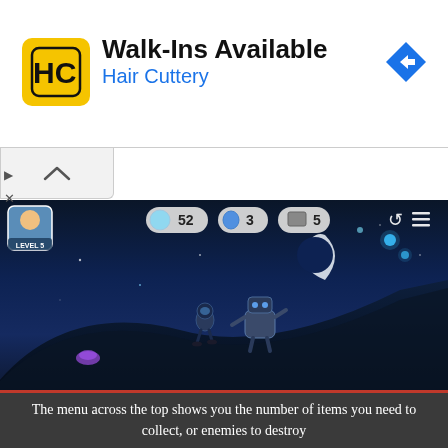[Figure (screenshot): Hair Cuttery advertisement banner with yellow HC logo, title 'Walk-Ins Available', subtitle 'Hair Cuttery', and blue diamond navigation icon on the right]
[Figure (screenshot): Mobile game screenshot showing a nighttime scene with a character running on a hill, a robot enemy, crescent moon, glowing orbs, and a HUD showing coins (52), water drops (3), and cups (5)]
The menu across the top shows you the number of items you need to collect, or enemies to destroy